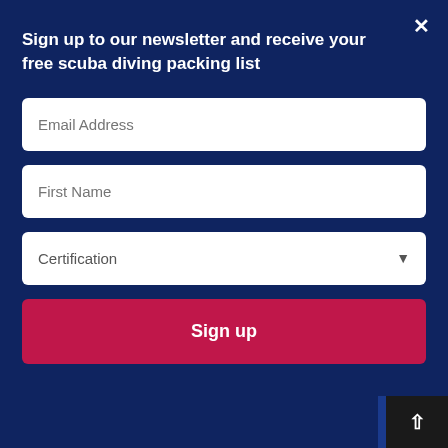Sign up to our newsletter and receive your free scuba diving packing list
Email Address
First Name
Certification
Sign up
some with sea views and there's daily housekeeping.
Warm water showers.
A leisure deck, and observation deck and a sun deck those sun worshippers who like to relax and enjoy su...